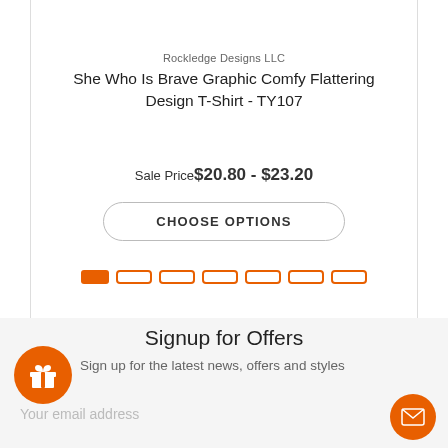[Figure (photo): Partial product photo showing camouflage clothing at the top of a product card]
Rockledge Designs LLC
She Who Is Brave Graphic Comfy Flattering Design T-Shirt - TY107
Sale Price $20.80 - $23.20
CHOOSE OPTIONS
[Figure (other): Pagination indicator dots - one filled orange rectangle and six outlined orange rectangles]
Signup for Offers
Sign up for the latest news, offers and styles
Your email address